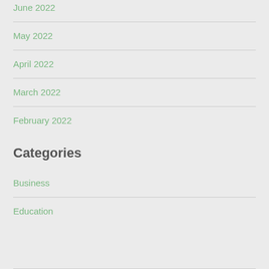June 2022
May 2022
April 2022
March 2022
February 2022
Categories
Business
Education